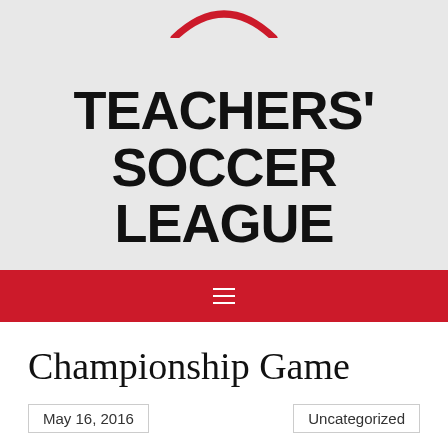[Figure (logo): Partial logo at top center — red arc shape, partially cropped]
TEACHERS' SOCCER LEAGUE
≡
Championship Game
May 16, 2016
Uncategorized